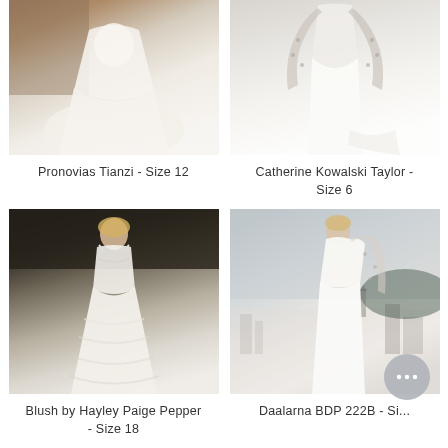[Figure (photo): Wedding dress photo - Pronovias Tianzi, white flowing A-line gown with lace bodice, outdoor rocky backdrop]
Pronovias Tianzi - Size 12
[Figure (photo): Wedding dress photo - Catherine Kowalski Taylor, white fitted gown with floral lace long sleeves, indoor white wall backdrop]
Catherine Kowalski Taylor - Size 6
[Figure (photo): Wedding dress photo - Blush by Hayley Paige Pepper, white ruffled tulle ball gown with spaghetti straps, dark studio backdrop]
Blush by Hayley Paige Pepper - Size 18
[Figure (photo): Wedding dress photo - Daalarna BDP 222B, white fitted one-shoulder gown with lace sleeve extension, rooftop city backdrop]
Daalarna BDP 222B - Si...